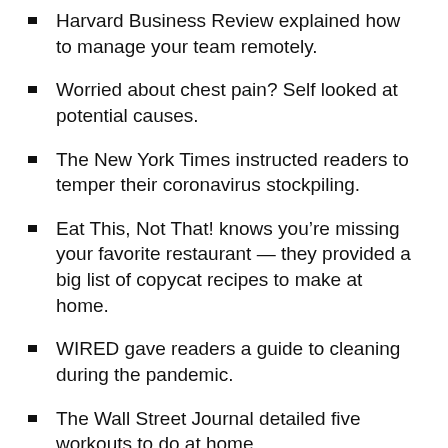Harvard Business Review explained how to manage your team remotely.
Worried about chest pain? Self looked at potential causes.
The New York Times instructed readers to temper their coronavirus stockpiling.
Eat This, Not That! knows you're missing your favorite restaurant – they provided a big list of copycat recipes to make at home.
WIRED gave readers a guide to cleaning during the pandemic.
The Wall Street Journal detailed five workouts to do at home.
Apartment Therapy got real about the toilet paper